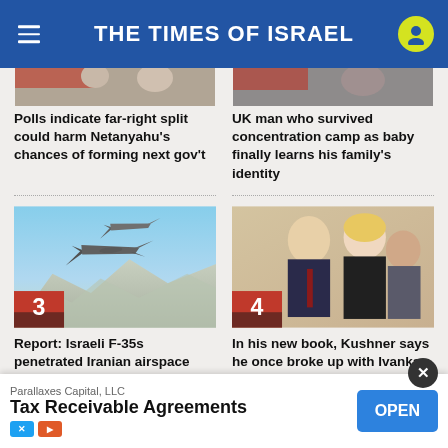THE TIMES OF ISRAEL
[Figure (photo): Cropped top portion of news photo 1 (article 1 image, partially visible)]
[Figure (photo): Cropped top portion of news photo 2 (article 2 image, partially visible)]
Polls indicate far-right split could harm Netanyahu's chances of forming next gov't
UK man who survived concentration camp as baby finally learns his family's identity
[Figure (photo): Israeli F-35 fighter jets flying over mountains, numbered badge '3']
[Figure (photo): Kushner and Ivanka at an event, numbered badge '4']
Report: Israeli F-35s penetrated Iranian airspace repeatedly during war drills
In his new book, Kushner says he once broke up with Ivanka because she wasn't Jewish
Parallaxes Capital, LLC
Tax Receivable Agreements